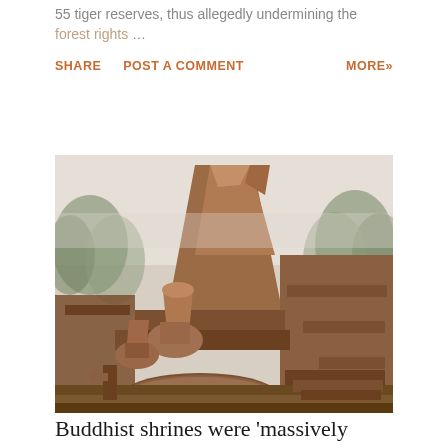55 tiger reserves, thus allegedly undermining the forest rights …
SHARE   POST A COMMENT   MORE»
[Figure (photo): Ancient brick ruins of a large Buddhist stupa or temple complex, with multiple smaller shrines and stupas in the foreground, a wide staircase on the right, and trees visible in the misty background. The structures are made of red-brown brick.]
Buddhist shrines were 'massively